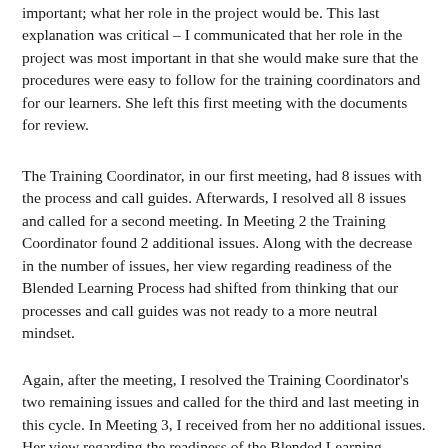important; what her role in the project would be. This last explanation was critical – I communicated that her role in the project was most important in that she would make sure that the procedures were easy to follow for the training coordinators and for our learners. She left this first meeting with the documents for review.
The Training Coordinator, in our first meeting, had 8 issues with the process and call guides. Afterwards, I resolved all 8 issues and called for a second meeting. In Meeting 2 the Training Coordinator found 2 additional issues. Along with the decrease in the number of issues, her view regarding readiness of the Blended Learning Process had shifted from thinking that our processes and call guides was not ready to a more neutral mindset.
Again, after the meeting, I resolved the Training Coordinator's two remaining issues and called for the third and last meeting in this cycle. In Meeting 3, I received from her no additional issues. Her view regarding the readiness of the Blended Learning Process had again shifted. Instead of 'neither agreeing or disagreeing' with the survey